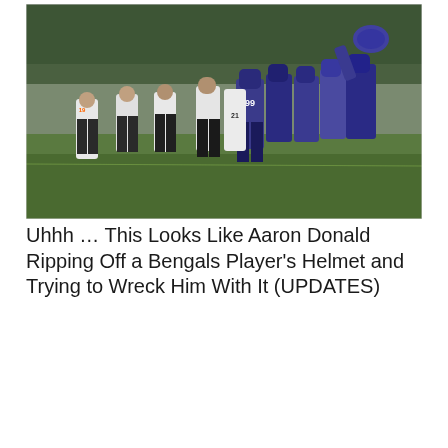[Figure (photo): Football practice brawl photo showing players in white uniforms (Bengals) and purple/dark uniforms (Rams) fighting on a green field. Player #99 in dark uniform is visible in the scrum. Player #19 in white jersey stands to the left. Trees visible in background.]
Uhhh … This Looks Like Aaron Donald Ripping Off a Bengals Player's Helmet and Trying to Wreck Him With It (UPDATES)